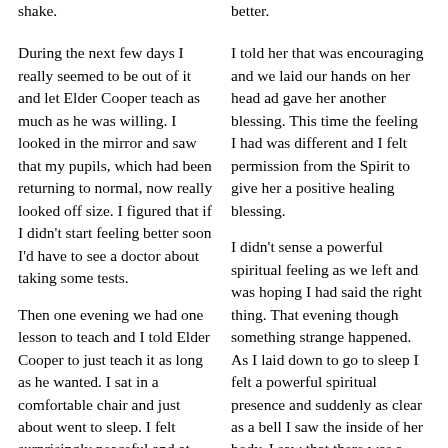shake.
better.
During the next few days I really seemed to be out of it and let Elder Cooper teach as much as he was willing. I looked in the mirror and saw that my pupils, which had been returning to normal, now really looked off size. I figured that if I didn't start feeling better soon I'd have to see a doctor about taking some tests.
I told her that was encouraging and we laid our hands on her head ad gave her another blessing. This time the feeling I had was different and I felt permission from the Spirit to give her a positive healing blessing.
Then one evening we had one lesson to teach and I told Elder Cooper to just teach it as long as he wanted. I sat in a comfortable chair and just about went to sleep. I felt surprisingly peaceful and at ease.
I didn't sense a powerful spiritual feeling as we left and was hoping I had said the right thing. That evening though something strange happened. As I laid down to go to sleep I felt a powerful spiritual presence and suddenly as clear as a bell I saw the inside of her body. I saw that there was a great sore or wound near her